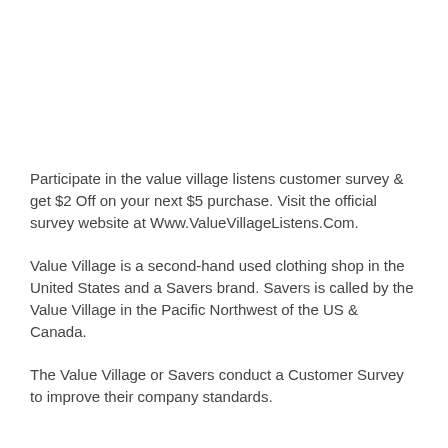Participate in the value village listens customer survey & get $2 Off on your next $5 purchase. Visit the official survey website at Www.ValueVillageListens.Com.
Value Village is a second-hand used clothing shop in the United States and a Savers brand. Savers is called by the Value Village in the Pacific Northwest of the US & Canada.
The Value Village or Savers conduct a Customer Survey to improve their company standards.